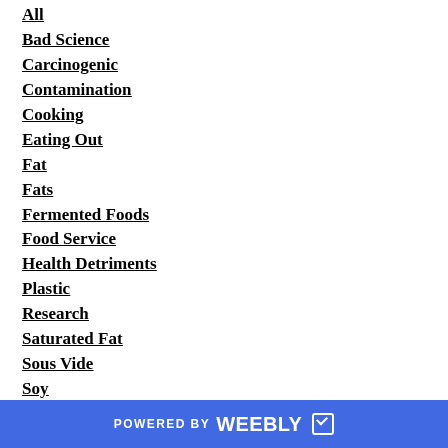All
Bad Science
Carcinogenic
Contamination
Cooking
Eating Out
Fat
Fats
Fermented Foods
Food Service
Health Detriments
Plastic
Research
Saturated Fat
Sous Vide
Soy
Whole Foods
POWERED BY weebly